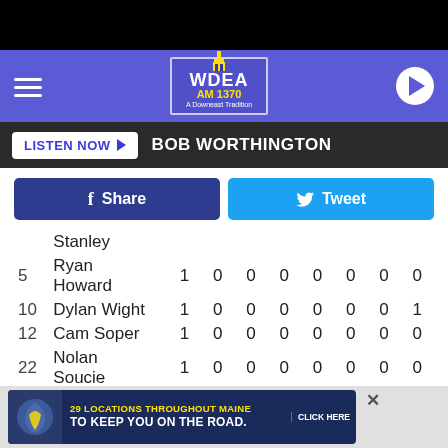[Figure (screenshot): WDEA AM 1370 radio station mobile app header with hamburger menu, logo, and play button on purple background]
LISTEN NOW  BOB WORTHINGTON
[Figure (other): Facebook Share button and Twitter Tweet button]
| # | Name | col1 | col2 | col3 | col4 | col5 | col6 | col7 | col8 |
| --- | --- | --- | --- | --- | --- | --- | --- | --- | --- |
|  | Stanley |  |  |  |  |  |  |  |  |
| 5 | Ryan Howard | 1 | 0 | 0 | 0 | 0 | 0 | 0 | 0 |
| 10 | Dylan Wight | 1 | 0 | 0 | 0 | 0 | 0 | 0 | 1 |
| 12 | Cam Soper | 1 | 0 | 0 | 0 | 0 | 0 | 0 | 0 |
| 22 | Nolan Soucie | 1 | 0 | 0 | 0 | 0 | 0 | 0 | 0 |
| 24 | Brady ... | 1 | 0 | 0 | 0 | 0 | 0 | 0 | 0 |
[Figure (other): Advertisement: 29 Locations Throughout Maine To Keep You On The Road. Click Here.]